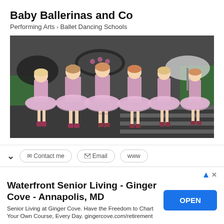Baby Ballerinas and Co
Performing Arts > Ballet Dancing Schools
[Figure (photo): Group of young girls in pink tutus holding umbrellas outdoors]
Unit 4, 9 Oakdale Rd, Gateshead, NSW 2290
10-20 km from Cams Wharf
Quote
Booking
Waterfront Senior Living - Ginger Cove - Annapolis, MD
Senior Living at Ginger Cove. Have the Freedom to Chart Your Own Course, Every Day. gingercove.com/retirement